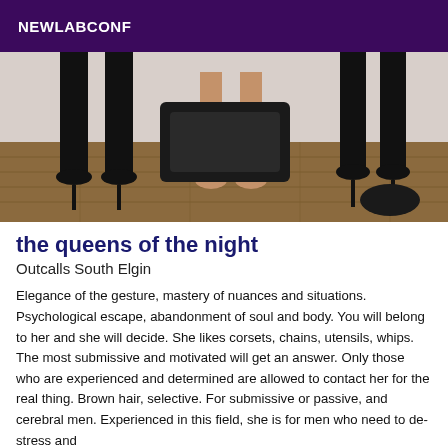NEWLABCONF
[Figure (photo): Photo showing legs of two people on a wooden floor, one wearing black high heels and black pants, another barefoot, with black leather/latex furniture visible in background]
the queens of the night
Outcalls South Elgin
Elegance of the gesture, mastery of nuances and situations. Psychological escape, abandonment of soul and body. You will belong to her and she will decide. She likes corsets, chains, utensils, whips. The most submissive and motivated will get an answer. Only those who are experienced and determined are allowed to contact her for the real thing. Brown hair, selective. For submissive or passive, and cerebral men. Experienced in this field, she is for men who need to de-stress and